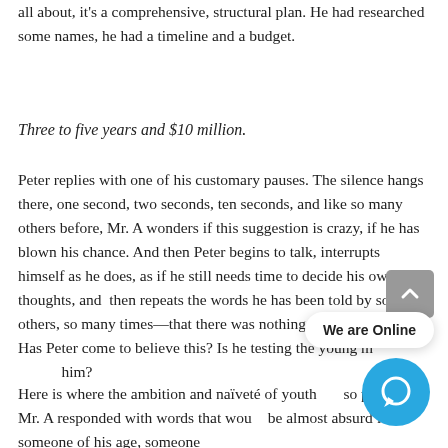all about, it's a comprehensive, structural plan. He had researched some names, he had a timeline and a budget.
Three to five years and $10 million.
Peter replies with one of his customary pauses. The silence hangs there, one second, two seconds, ten seconds, and like so many others before, Mr. A wonders if this suggestion is crazy, if he has blown his chance. And then Peter begins to talk, interrupts himself as he does, as if he still needs time to decide his own thoughts, and then repeats the words he has been told by so many others, so many times—that there was nothing that could be done. Has Peter come to believe this? Is he testing the young man before him?
Here is where the ambition and naïveté of youth are so powerful. Mr. A responded with words that would be almost absurd for someone of his age, someone